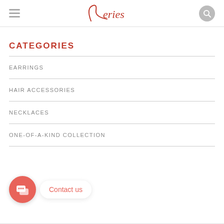Leries
CATEGORIES
EARRINGS
HAIR ACCESSORIES
NECKLACES
ONE-OF-A-KIND COLLECTION
[Figure (other): Chat widget with coral circular button showing chat icon, and a white speech bubble with 'Contact us' text in red]